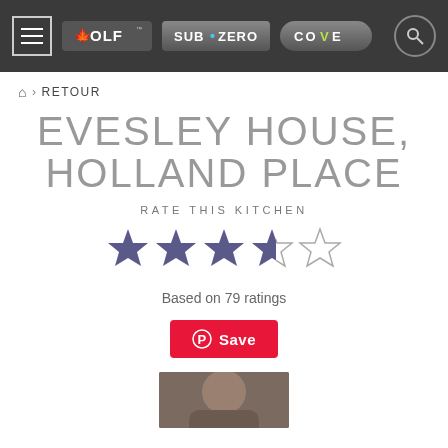[Figure (logo): Navigation header bar with Wolf, Sub-Zero, and Cove brand logos on dark background with menu hamburger button and search icon]
⌂ > RETOUR
EVESLEY HOUSE, HOLLAND PLACE
RATE THIS KITCHEN
[Figure (illustration): 3.5 out of 5 stars rating — 3.5 filled dark blue/purple stars and 1.5 empty outline stars]
Based on 79 ratings
[Figure (illustration): Red Pinterest Save button with Pinterest circle logo icon]
[Figure (photo): Partial photo of a person visible at bottom of page]